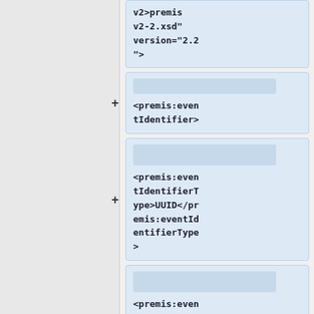v2>premisv2-2.xsd" version="2.2">
<premis:eventIdentifier>
<premis:eventIdentifierType>UUID</premis:eventIdentifierType>
<premis:eventIdentifierValue>ceb5663